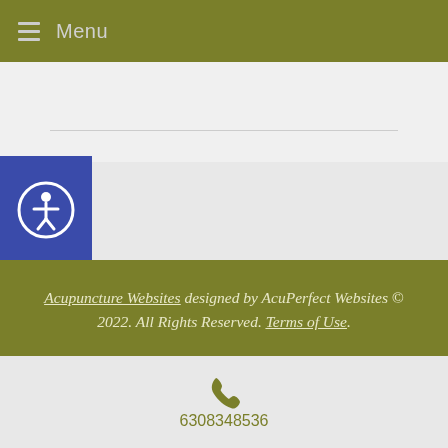Menu
[Figure (illustration): Accessibility icon button - person in circle on blue background]
Acupuncture Websites designed by AcuPerfect Websites © 2022. All Rights Reserved. Terms of Use.
Webmail
Log in
6308348536